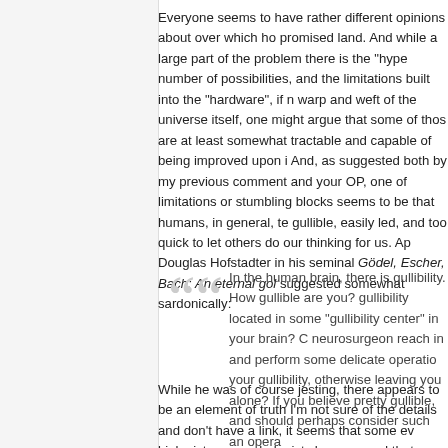Everyone seems to have rather different opinions about over which ho promised land. And while a large part of the problem there is the "hype number of possibilities, and the limitations built into the "hardware", if n warp and weft of the universe itself, one might argue that some of thos are at least somewhat tractable and capable of being improved upon i And, as suggested both by my previous comment and your OP, one of limitations or stumbling blocks seems to be that humans, in general, te gullible, easily led, and too quick to let others do our thinking for us. Ap Douglas Hofstadter in his seminal Gödel, Escher, Bach: An eternal gol suggested somewhat sardonically:
In the human brain, there is gullibility. How gullible are you? gullibility located in some "gullibility center" in your brain? C neurosurgeon reach in and perform some delicate operatio your gullibility, otherwise leaving you alone? If you believe pretty gullible, and should perhaps consider such an opera
While he was of course jesting, there appears to be an element of truth I'm not sure of the details and don't have a link, it seems that some ev biologists or psychologists have argued that evolution has more or less believe parents and other figures of authority – part of our evolutionary But when one's survival hangs in the balance and depends on a quick response to danger, questioning the source of those recommendation